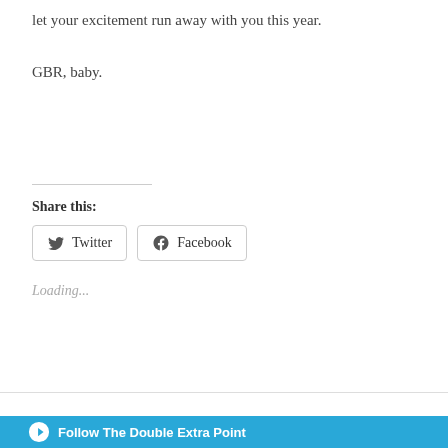let your excitement run away with you this year.
GBR, baby.
Share this:
Twitter
Facebook
Loading...
Follow The Double Extra Point